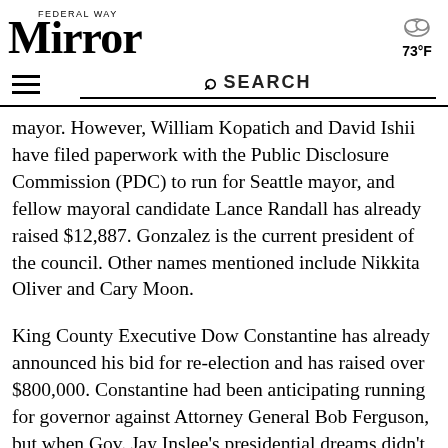Federal Way Mirror
73°F
SEARCH
mayor. However, William Kopatich and David Ishii have filed paperwork with the Public Disclosure Commission (PDC) to run for Seattle mayor, and fellow mayoral candidate Lance Randall has already raised $12,887. Gonzalez is the current president of the council. Other names mentioned include Nikkita Oliver and Cary Moon.
King County Executive Dow Constantine has already announced his bid for re-election and has raised over $800,000. Constantine had been anticipating running for governor against Attorney General Bob Ferguson, but when Gov. Jay Inslee's presidential dreams didn't go according to plan, both Ferguson and Constantine decided to stay in their current